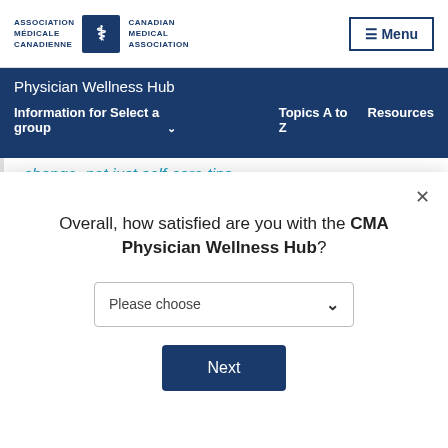Association médicale canadienne | Canadian Medical Association | Menu
Physician Wellness Hub
Information for Select a group | Topics A to Z | Resources
change, not just self-care tips
This article from the Canadian Medical
Overall, how satisfied are you with the CMA Physician Wellness Hub?
Please choose
Next